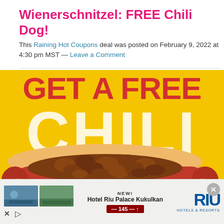Wienerschnitzel: FREE Chili Dog!
This Raining Hot Coupons deal was posted on February 9, 2022 at 4:30 pm MST — Leave a Comment
[Figure (photo): Wienerschnitzel promotional image showing 'GET A FREE CHILI DOG' text on yellow background with a large chili dog photo in the center]
[Figure (photo): RIU Hotels & Resorts advertisement banner showing Hotel Riu Palace Kukulkan with price from 145]